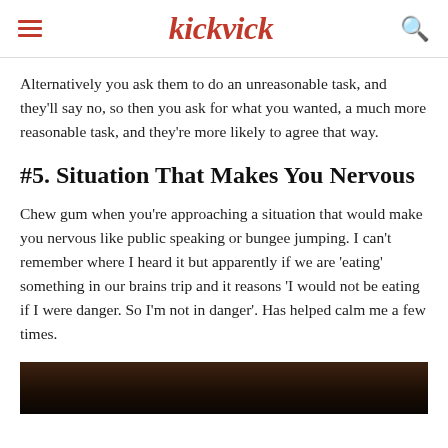kickvick
Alternatively you ask them to do an unreasonable task, and they'll say no, so then you ask for what you wanted, a much more reasonable task, and they're more likely to agree that way.
#5. Situation That Makes You Nervous
Chew gum when you're approaching a situation that would make you nervous like public speaking or bungee jumping. I can't remember where I heard it but apparently if we are 'eating' something in our brains trip and it reasons 'I would not be eating if I were danger. So I'm not in danger'. Has helped calm me a few times.
[Figure (photo): Bottom of page dark image, partially visible, appears to be a person]